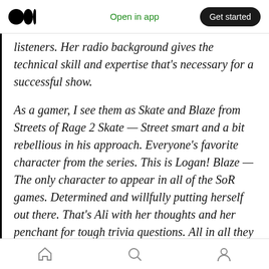Open in app | Get started
listeners. Her radio background gives the technical skill and expertise that's necessary for a successful show.
As a gamer, I see them as Skate and Blaze from Streets of Rage 2 Skate — Street smart and a bit rebellious in his approach. Everyone's favorite character from the series. This is Logan! Blaze — The only character to appear in all of the SoR games. Determined and willfully putting herself out there. That's Ali with her thoughts and her penchant for tough trivia questions. All in all they make for a
Home | Search | Profile